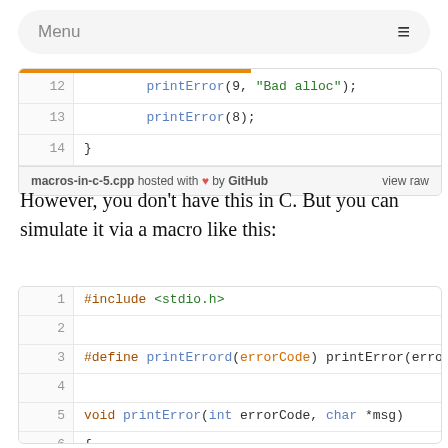Menu
[Figure (screenshot): Code snippet lines 12-14 showing printError calls, with orange top stripe and GitHub footer: macros-in-c-5.cpp hosted with heart by GitHub | view raw]
However, you don't have this in C. But you can simulate it via a macro like this:
[Figure (screenshot): Code snippet lines 1-8+ showing #include <stdio.h>, #define printErrord macro, void printError function definition, and printf call]